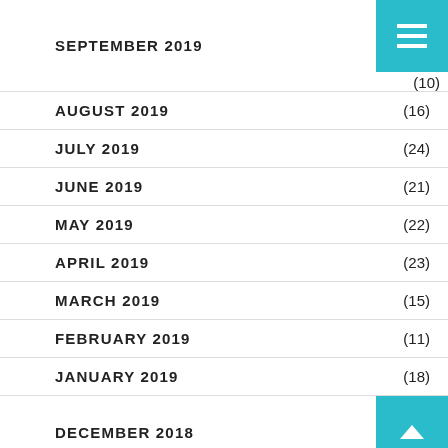SEPTEMBER 2019 (10)
AUGUST 2019 (16)
JULY 2019 (24)
JUNE 2019 (21)
MAY 2019 (22)
APRIL 2019 (23)
MARCH 2019 (15)
FEBRUARY 2019 (11)
JANUARY 2019 (18)
DECEMBER 2018
NOVEMBER 2018 (8)